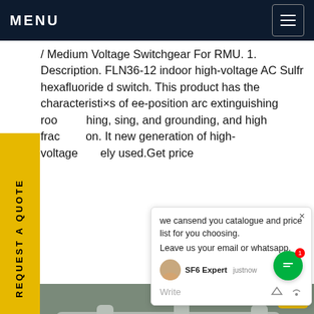MENU
/ Medium Voltage Switchgear For RMU. 1. Description. FLN36-12 indoor high-voltage AC Sulfr hexafluoride d switch. This product has the characteristics of ee-position arc extinguishing roo hing, sing, and grounding, and high frac on. It new generation of high-voltage ely used.Get price
REQUEST A QUOTE
we can send you catalogue and price list for you choosing.
Leave us your email or whatsapp.
SF6 Expert  justnow
Write
[Figure (photo): Industrial high-voltage SF6 gas-insulated switchgear equipment with large pipes and fittings in grey with red bands, installed outdoors with Chinese safety signage visible, labeled P1 and P2]